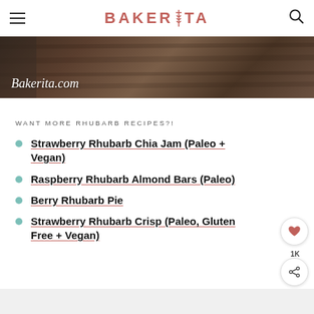BAKERITA
[Figure (photo): Dark wooden background food photo with text overlay 'Bakerita.com' in italic script]
WANT MORE RHUBARB RECIPES?!
Strawberry Rhubarb Chia Jam (Paleo + Vegan)
Raspberry Rhubarb Almond Bars (Paleo)
Berry Rhubarb Pie
Strawberry Rhubarb Crisp (Paleo, Gluten Free + Vegan)